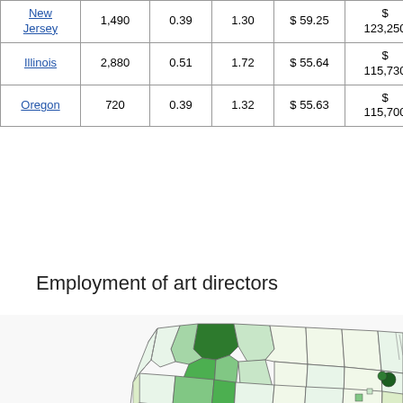| New Jersey | 1,490 | 0.39 | 1.30 | $ 59.25 | $ 123,250 |
| Illinois | 2,880 | 0.51 | 1.72 | $ 55.64 | $ 115,730 |
| Oregon | 720 | 0.39 | 1.32 | $ 55.63 | $ 115,700 |
Employment of art directors
[Figure (map): Choropleth map of the United States showing employment of art directors by region, with shading in various shades of green indicating employment concentration. Darker green areas visible in the Pacific Northwest and near the Great Lakes region.]